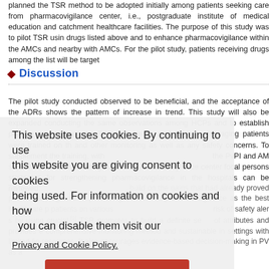planned the TSR method to be adopted initially among patients seeking care from pharmacovigilance center, i.e., postgraduate institute of medical education and catchment healthcare facilities. The purpose of this study was to pilot TSR using drugs listed above and to enhance pharmacovigilance within the AMCs and nearby with AMCs. For the pilot study, patients receiving drugs among the list will be target
Discussion
The pilot study conducted observed to be beneficial, and the acceptance of the ADRs shows the pattern of increase in trend. This study will also be expanded conducting the same observations among HCPs and to establish pharmacovi enhance the TSR, the health professionals managing patients were trained on th and other monitoring as well as any safety concerns. To supplement the training, with the PvPI and AM supervision, review meetings with the pharmacovigilance center focal persons strategies for strengthening pharmacovigilance in the hospitals can be reviewed.
TSR programs in promoting the role of pharmacovigilance as the best healthcare p patients on various drugs for a possible increased risk of safety alerts by using crucial.[9] TSR promotes to build a definite set of attributes and provides e comprehensive monitoring method and sustainable in settings with limited fin resources. It also encourages evidence-based decision-making in PV as a